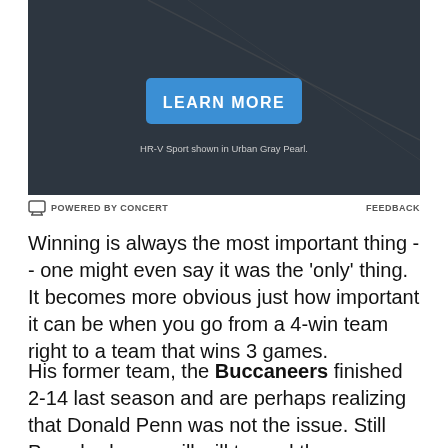[Figure (photo): Dark gray advertisement banner with a blue 'LEARN MORE' button and caption text 'HR-V Sport shown in Urban Gray Pearl.']
POWERED BY CONCERT    FEEDBACK
Winning is always the most important thing -- one might even say it was the 'only' thing. It becomes more obvious just how important it can be when you go from a 4-win team right to a team that wins 3 games.
His former team, the Buccaneers finished 2-14 last season and are perhaps realizing that Donald Penn was not the issue. Still Penn harbors no ill will toward the organization which gave the undrafted free agent